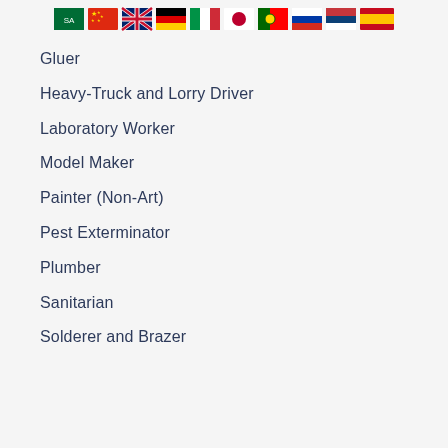[Figure (other): Row of country flag icons: Saudi Arabia, China, UK, Germany, Italy, Japan, Portugal, Russia, Serbia, Spain, Kenya]
Gluer
Heavy-Truck and Lorry Driver
Laboratory Worker
Model Maker
Painter (Non-Art)
Pest Exterminator
Plumber
Sanitarian
Solderer and Brazer